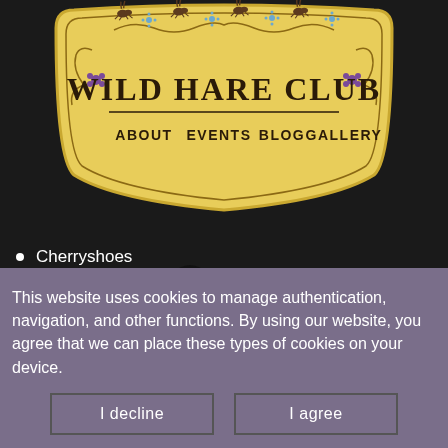[Figure (logo): Wild Hare Club badge/logo with decorative golden shield shape, hare silhouettes running across the top, ornamental floral/vine decorations, and the text 'WILD HARE CLUB' in bold serif font. Navigation links ABOUT, EVENTS, BLOG, GALLERY appear below the badge text.]
Cherryshoes
Clare Ferguson-Walker
Dave Atkin (DJ DrummieDave)
DJ Debbie / Debbie Golt
Don Latta
This website uses cookies to manage authentication, navigation, and other functions. By using our website, you agree that we can place these types of cookies on your device.
I decline
I agree